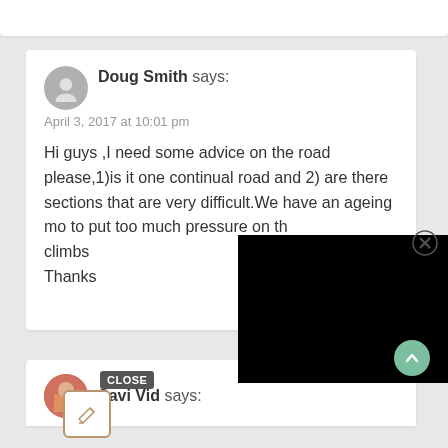Doug Smith says:
April 3, 2017 at 10:01 pm
Hi guys ,I need some advice on the road please,1)is it one continual road and 2) are there sections that are very difficult.We have an ageing mo[ther and don't want] to put too much pressure on th[e knees on big] climbs
Thanks
Reply
Savi Vid says: